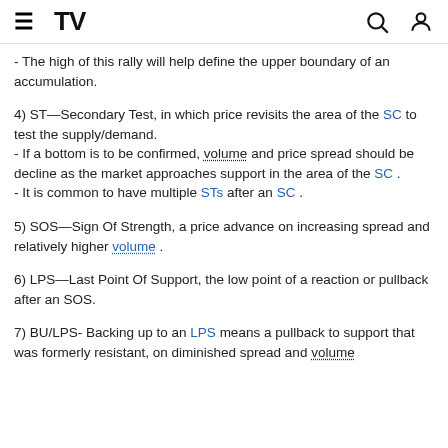TradingView logo, menu, search, and user icons
- The high of this rally will help define the upper boundary of an accumulation.
4) ST—Secondary Test, in which price revisits the area of the SC to test the supply/demand.
- If a bottom is to be confirmed, volume and price spread should be decline as the market approaches support in the area of the SC .
- It is common to have multiple STs after an SC .
5) SOS—Sign Of Strength, a price advance on increasing spread and relatively higher volume .
6) LPS—Last Point Of Support, the low point of a reaction or pullback after an SOS.
7) BU/LPS- Backing up to an LPS means a pullback to support that was formerly resistant, on diminished spread and volume